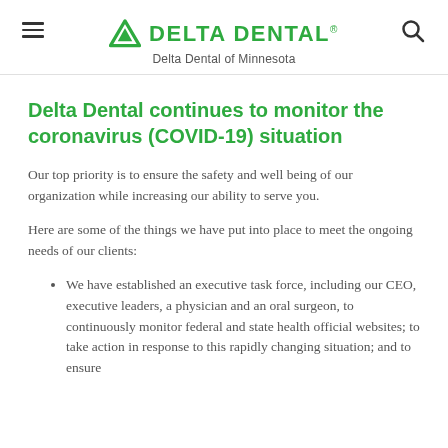Delta Dental — Delta Dental of Minnesota
Delta Dental continues to monitor the coronavirus (COVID-19) situation
Our top priority is to ensure the safety and well being of our organization while increasing our ability to serve you.
Here are some of the things we have put into place to meet the ongoing needs of our clients:
We have established an executive task force, including our CEO, executive leaders, a physician and an oral surgeon, to continuously monitor federal and state health official websites; to take action in response to this rapidly changing situation; and to ensure